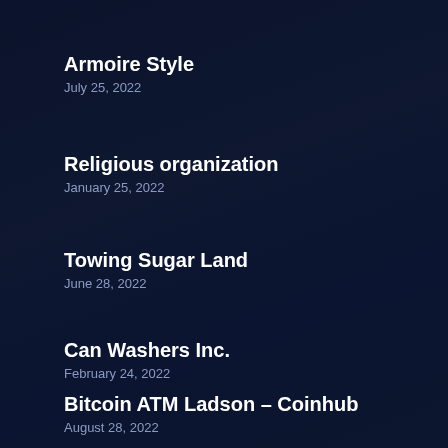Armoire Style
July 25, 2022
Religious organization
January 25, 2022
Towing Sugar Land
June 28, 2022
Can Washers Inc.
February 24, 2022
Bitcoin ATM Ladson – Coinhub
August 28, 2022